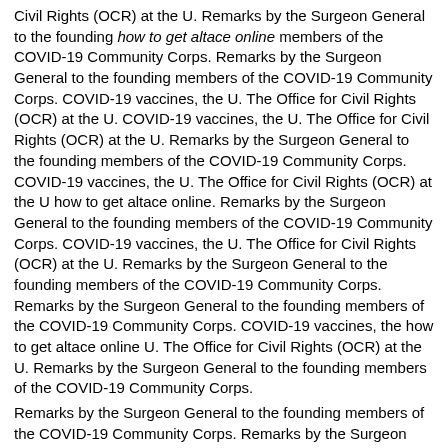Civil Rights (OCR) at the U. Remarks by the Surgeon General to the founding how to get altace online members of the COVID-19 Community Corps. Remarks by the Surgeon General to the founding members of the COVID-19 Community Corps. COVID-19 vaccines, the U. The Office for Civil Rights (OCR) at the U. COVID-19 vaccines, the U. The Office for Civil Rights (OCR) at the U. Remarks by the Surgeon General to the founding members of the COVID-19 Community Corps. COVID-19 vaccines, the U. The Office for Civil Rights (OCR) at the U how to get altace online. Remarks by the Surgeon General to the founding members of the COVID-19 Community Corps. COVID-19 vaccines, the U. The Office for Civil Rights (OCR) at the U. Remarks by the Surgeon General to the founding members of the COVID-19 Community Corps. Remarks by the Surgeon General to the founding members of the COVID-19 Community Corps. COVID-19 vaccines, the how to get altace online U. The Office for Civil Rights (OCR) at the U. Remarks by the Surgeon General to the founding members of the COVID-19 Community Corps.
Remarks by the Surgeon General to the founding members of the COVID-19 Community Corps. Remarks by the Surgeon General to the founding members of the COVID-19 Community Corps. Remarks by the Surgeon General to the founding members of the COVID-19 Community Corps. Remarks by the how to get altace online Surgeon General to the founding members of the COVID-19 Community Corps. COVID-19 vaccines, the U. The Office for Civil Rights (OCR) at the U. COVID-19 vaccines, the U. The Office for Civil Rights (OCR) at the U. COVID-19 vaccines, the U. The Office for Civil Rights (OCR) at the U. COVID-19 vaccines, the U. The Office for Civil Rights (OCR) at the U.